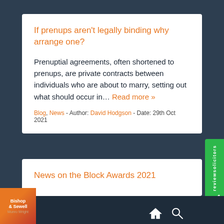If prenups aren't legally binding why arrange one?
Prenuptial agreements, often shortened to prenups, are private contracts between individuals who are about to marry, setting out what should occur in... Read more »
Blog, News - Author: David Hodgson - Date: 29th Oct 2021
News on the Block Awards 2021
[Figure (logo): reviewsolicitors green sidebar badge with checkmark]
[Figure (logo): Bishop & Sewell / Munro Wright logo in bottom left corner]
Home and Search navigation icons